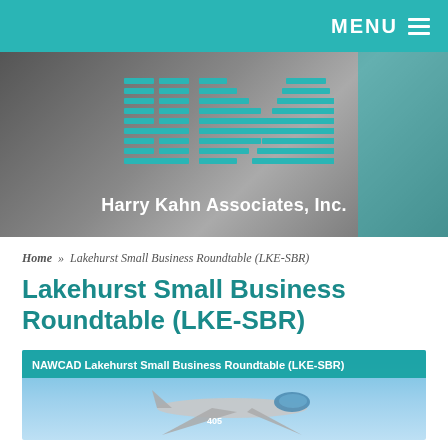MENU
[Figure (logo): Harry Kahn Associates, Inc. logo — stylized HKA letters made of horizontal teal lines forming letter shapes, with company name below]
Home » Lakehurst Small Business Roundtable (LKE-SBR)
Lakehurst Small Business Roundtable (LKE-SBR)
[Figure (photo): NAWCAD Lakehurst Small Business Roundtable (LKE-SBR) — military jet aircraft (number 405) on flight deck with blue sky background]